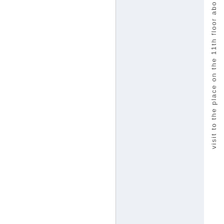[Figure (other): Page layout showing two panels: a white left panel and a light blue-grey right panel, with vertical text reading 'visit to the place on the 11th floor abo...' running down the right edge of the page.]
visit to the place on the 11th floor abo